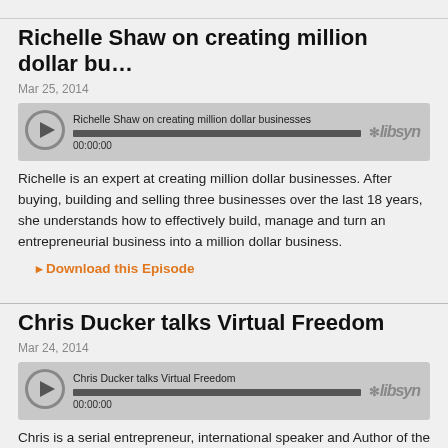Richelle Shaw on creating million dollar bu…
Mar 25, 2014
[Figure (other): Audio player widget for 'Richelle Shaw on creating million dollar businesses', showing play button, progress bar at full, and timestamp 00:00:00 with libsyn logo]
Richelle is an expert at creating million dollar businesses. After buying, building and selling three businesses over the last 18 years, she understands how to effectively build, manage and turn an entrepreneurial business into a million dollar business.
Download this Episode
Chris Ducker talks Virtual Freedom
Mar 24, 2014
[Figure (other): Audio player widget for 'Chris Ducker talks Virtual Freedom', showing play button, progress bar at full, and timestamp 00:00:00 with libsyn logo]
Chris is a serial entrepreneur, international speaker and Author of the new book, Virtual Freedom. He is also the Founder of Virtual Staff Finder, the